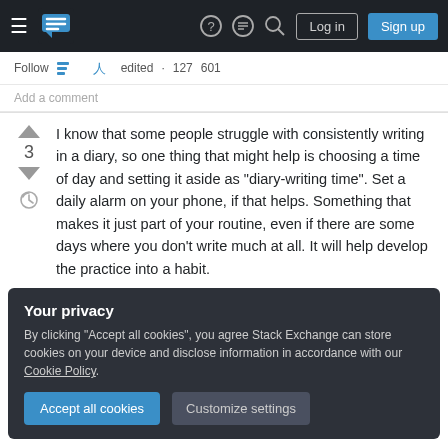Stack Exchange navigation bar with hamburger, logo, help, chat, search, Log in, Sign up buttons
Follow  Add a comment
I know that some people struggle with consistently writing in a diary, so one thing that might help is choosing a time of day and setting it aside as "diary-writing time". Set a daily alarm on your phone, if that helps. Something that makes it just part of your routine, even if there are some days where you don't write much at all. It will help develop the practice into a habit.
Your privacy
By clicking "Accept all cookies", you agree Stack Exchange can store cookies on your device and disclose information in accordance with our Cookie Policy.
Accept all cookies  Customize settings
Decide it is a priority